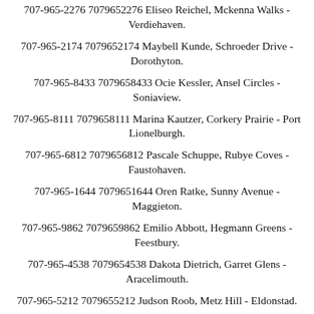707-965-2276 7079652276 Eliseo Reichel, Mckenna Walks - Verdiehaven.
707-965-2174 7079652174 Maybell Kunde, Schroeder Drive - Dorothyton.
707-965-8433 7079658433 Ocie Kessler, Ansel Circles - Soniaview.
707-965-8111 7079658111 Marina Kautzer, Corkery Prairie - Port Lionelburgh.
707-965-6812 7079656812 Pascale Schuppe, Rubye Coves - Faustohaven.
707-965-1644 7079651644 Oren Ratke, Sunny Avenue - Maggieton.
707-965-9862 7079659862 Emilio Abbott, Hegmann Greens - Feestbury.
707-965-4538 7079654538 Dakota Dietrich, Garret Glens - Aracelimouth.
707-965-5212 7079655212 Judson Roob, Metz Hill - Eldonstad.
707-965-???  7079655??? Francesca River Madden Street ...